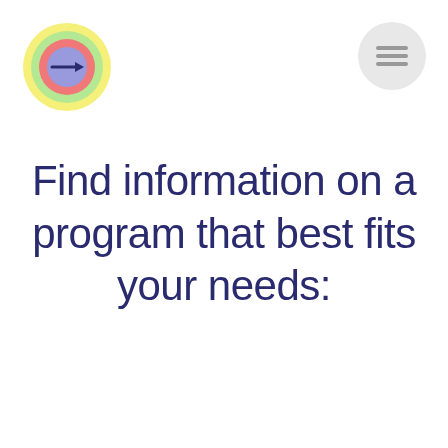[Figure (logo): Colorful concentric circles logo with yellow, green, red, and blue/purple layers, with a small arrow pointing right in the center]
[Figure (illustration): Gray hamburger menu icon (three horizontal lines) in a light gray circle, positioned top right]
Find information on a program that best fits your needs: